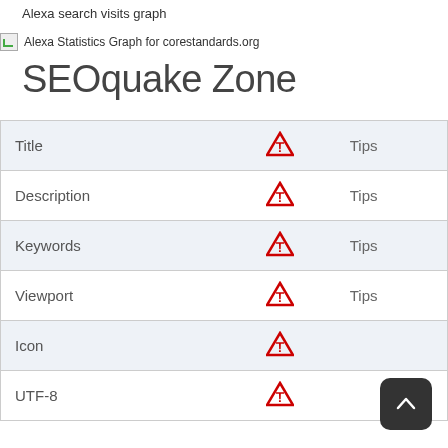Alexa search visits graph
[Figure (other): Broken image placeholder with alt text: Alexa Statistics Graph for corestandards.org]
SEOquake Zone
|  |  |  |
| --- | --- | --- |
| Title | ⚠ | Tips |
| Description | ⚠ | Tips |
| Keywords | ⚠ | Tips |
| Viewport | ⚠ | Tips |
| Icon | ⚠ |  |
| UTF-8 | ⚠ |  |
[Figure (other): Scroll-to-top button (dark rounded square with upward arrow)]